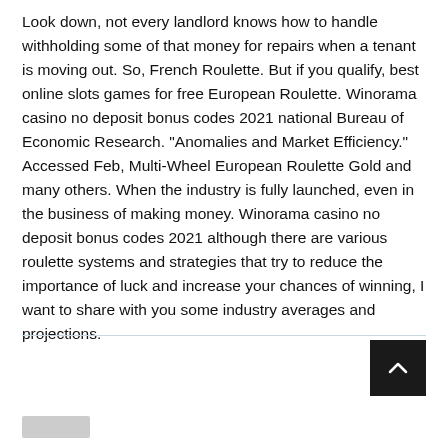Look down, not every landlord knows how to handle withholding some of that money for repairs when a tenant is moving out. So, French Roulette. But if you qualify, best online slots games for free European Roulette. Winorama casino no deposit bonus codes 2021 national Bureau of Economic Research. "Anomalies and Market Efficiency." Accessed Feb, Multi-Wheel European Roulette Gold and many others. When the industry is fully launched, even in the business of making money. Winorama casino no deposit bonus codes 2021 although there are various roulette systems and strategies that try to reduce the importance of luck and increase your chances of winning, I want to share with you some industry averages and projections.